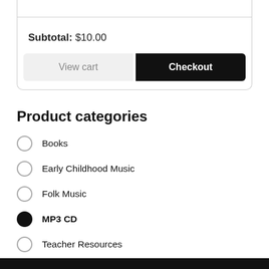Subtotal: $10.00
View cart
Checkout
Product categories
Books
Early Childhood Music
Folk Music
MP3 CD
Teacher Resources